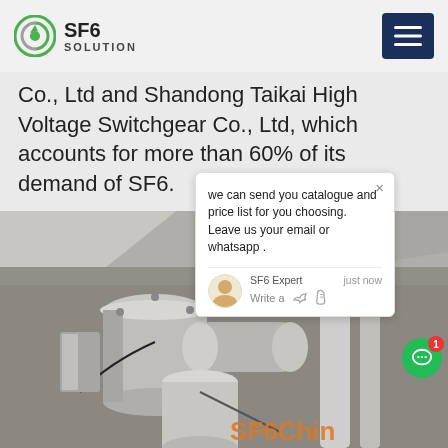SF6 SOLUTION
Co., Ltd and Shandong Taikai High Voltage Switchgear Co., Ltd, which accounts for more than 60% of its demand of SF6.
[Figure (photo): Industrial SF6 high-voltage switchgear equipment with cylindrical components and pipes in a facility, with 'SF6China' watermark in orange at bottom right.]
we can send you catalogue and price list for you choosing. Leave us your email or whatsapp . SF6 Expert   just now Write a